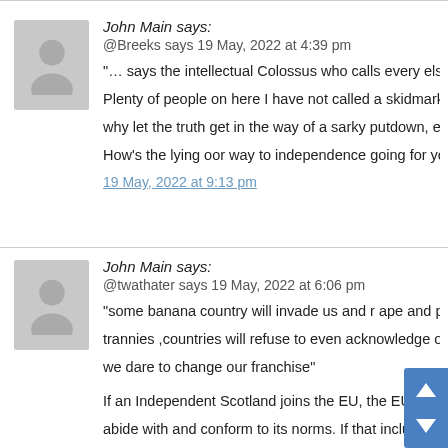John Main says:
@Breeks says 19 May, 2022 at 4:39 pm
"… says the intellectual Colossus who calls every else a '
Plenty of people on here I have not called a skidmark, Br why let the truth get in the way of a sarky putdown, eh?
How's the lying oor way to independence going for you th
19 May, 2022 at 9:13 pm
John Main says:
@twathater says 19 May, 2022 at 6:06 pm
"some banana country will invade us and r ape and pillag trannies ,countries will refuse to even acknowledge our e we dare to change our franchise"
If an Independent Scotland joins the EU, the EU will expe abide with and conform to its norms. If that includes defe spending, a common foreign policy, common environmen mutual aid pacts, etc. then Scotland won't be gett exemptions.